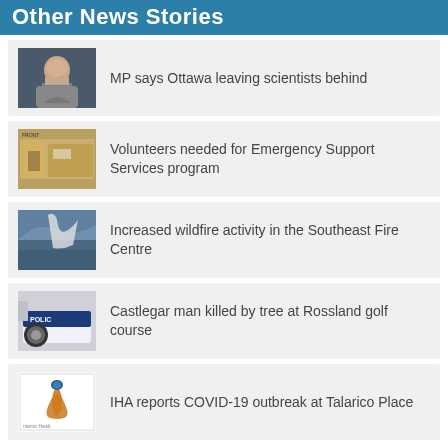Other News Stories
MP says Ottawa leaving scientists behind
Volunteers needed for Emergency Support Services program
Increased wildfire activity in the Southeast Fire Centre
Castlegar man killed by tree at Rossland golf course
IHA reports COVID-19 outbreak at Talarico Place
MORE
[Figure (photo): Bottom photo partially visible showing interior scene]